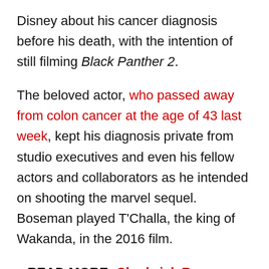Disney about his cancer diagnosis before his death, with the intention of still filming Black Panther 2.
The beloved actor, who passed away from colon cancer at the age of 43 last week, kept his diagnosis private from studio executives and even his fellow actors and collaborators as he intended on shooting the marvel sequel. Boseman played T'Challa, the king of Wakanda, in the 2016 film.
READ MORE: Chadwick Boseman – 1976-2020: a real-life superhero who gave hope to many
Film finance attorney Schuyler Moore told The Hollywood Reporter how Marvel had no reason to